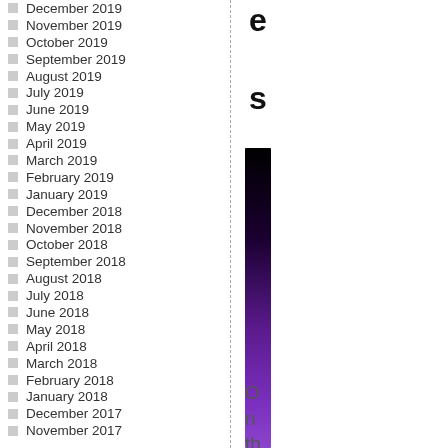December 2019
November 2019
October 2019
September 2019
August 2019
July 2019
June 2019
May 2019
April 2019
March 2019
February 2019
January 2019
December 2018
November 2018
October 2018
September 2018
August 2018
July 2018
June 2018
May 2018
April 2018
March 2018
February 2018
January 2018
December 2017
November 2017
[Figure (other): Vertical color gradient bar from black at top to purple/violet at bottom, representing a data scale. Partially visible. Letters 'e', 's' appear above the bar, and 'On the world wi...' appears below.]
e
s
On the world wi...